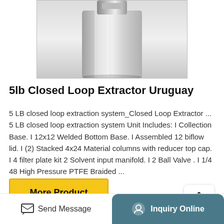[Figure (photo): Product photo of a 5lb closed loop extractor, metallic cylindrical container with shiny steel finish, top portion visible]
5lb Closed Loop Extractor Uruguay
5 LB closed loop extraction system_Closed Loop Extractor ... 5 LB closed loop extraction system Unit Includes: I Collection Base. I 12x12 Welded Bottom Base. I Assembled 12 biflow lid. I (2) Stacked 4x24 Material columns with reducer top cap. I 4 filter plate kit 2 Solvent input manifold. I 2 Ball Valve . I 1/4 48 High Pressure PTFE Braided ...
More Product
Send Message   Inquiry Online